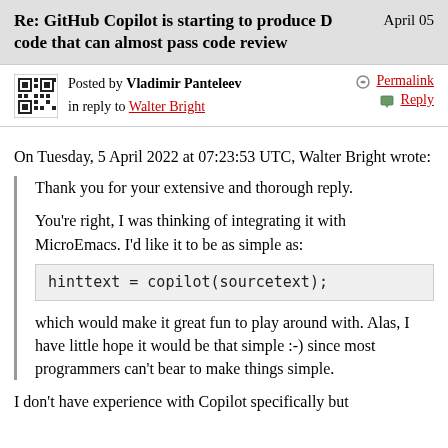Re: GitHub Copilot is starting to produce D code that can almost pass code review	April 05
Posted by Vladimir Panteleev in reply to Walter Bright	Permalink	Reply
On Tuesday, 5 April 2022 at 07:23:53 UTC, Walter Bright wrote:
Thank you for your extensive and thorough reply.

You're right, I was thinking of integrating it with MicroEmacs. I'd like it to be as simple as:

hinttext = copilot(sourcetext);

which would make it great fun to play around with. Alas, I have little hope it would be that simple :-) since most programmers can't bear to make things simple.
I don't have experience with Copilot specifically but